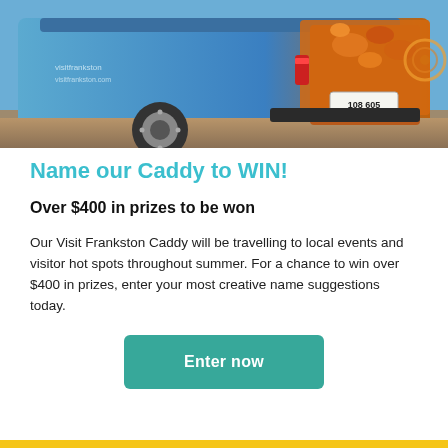[Figure (photo): Rear view of a Volkswagen Caddy van with a colorful Visit Frankston vehicle wrap featuring blue skies, autumn leaves, and Aboriginal art elements. Victorian license plate 108-605 visible.]
Name our Caddy to WIN!
Over $400 in prizes to be won
Our Visit Frankston Caddy will be travelling to local events and visitor hot spots throughout summer. For a chance to win over $400 in prizes, enter your most creative name suggestions today.
Enter now